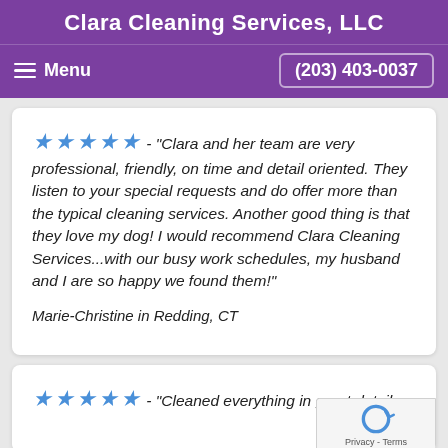Clara Cleaning Services, LLC
Menu   (203) 403-0037
★★★★★ - "Clara and her team are very professional, friendly, on time and detail oriented. They listen to your special requests and do offer more than the typical cleaning services. Another good thing is that they love my dog! I would recommend Clara Cleaning Services...with our busy work schedules, my husband and I are so happy we found them!"
Marie-Christine in Redding, CT
★★★★★ - "Cleaned everything in great detail.